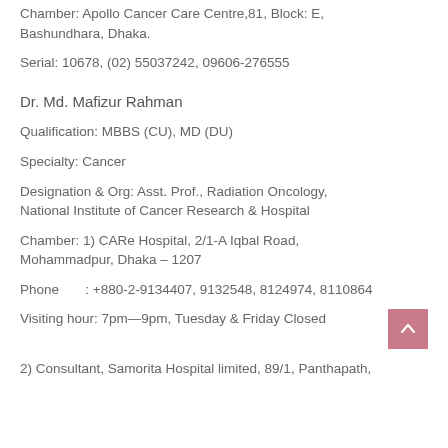Chamber: Apollo Cancer Care Centre,81, Block: E, Bashundhara, Dhaka.
Serial: 10678, (02) 55037242, 09606-276555
Dr. Md. Mafizur Rahman
Qualification: MBBS (CU), MD (DU)
Specialty: Cancer
Designation & Org: Asst. Prof., Radiation Oncology, National Institute of Cancer Research & Hospital
Chamber: 1) CARe Hospital, 2/1-A Iqbal Road, Mohammadpur, Dhaka – 1207
Phone          : +880-2-9134407, 9132548, 8124974, 8110864
Visiting hour: 7pm—9pm, Tuesday & Friday Closed
2) Consultant, Samorita Hospital limited, 89/1, Panthapath,